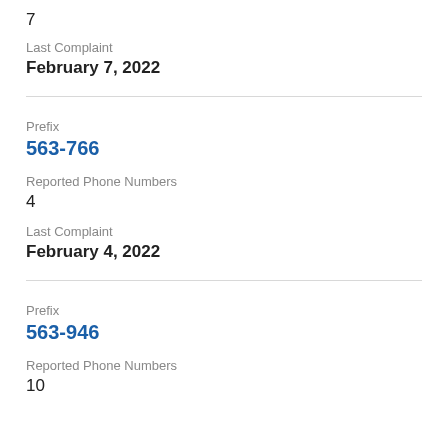7
Last Complaint
February 7, 2022
Prefix
563-766
Reported Phone Numbers
4
Last Complaint
February 4, 2022
Prefix
563-946
Reported Phone Numbers
10